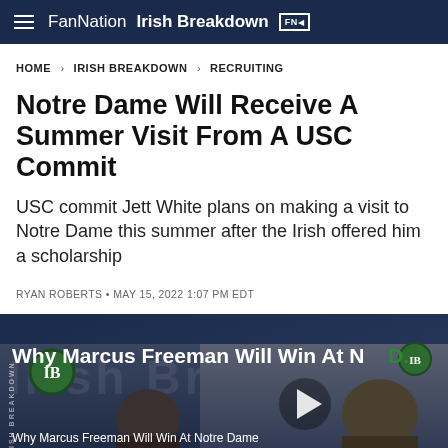FanNation Irish Breakdown
HOME > IRISH BREAKDOWN > RECRUITING
Notre Dame Will Receive A Summer Visit From A USC Commit
USC commit Jett White plans on making a visit to Notre Dame this summer after the Irish offered him a scholarship
RYAN ROBERTS • MAY 15, 2022 1:07 PM EDT
[Figure (screenshot): Video thumbnail showing two men with Irish Breakdown branding, title 'Why Marcus Freeman Will Win At ND.' with a play button overlay]